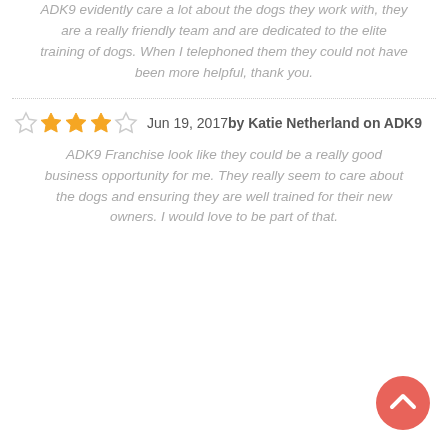ADK9 evidently care a lot about the dogs they work with, they are a really friendly team and are dedicated to the elite training of dogs. When I telephoned them they could not have been more helpful, thank you.
Jun 19, 2017 by Katie Netherland on ADK9
ADK9 Franchise look like they could be a really good business opportunity for me. They really seem to care about the dogs and ensuring they are well trained for their new owners. I would love to be part of that.
[Figure (other): Back to top button - coral/salmon colored circular button with upward chevron arrow]